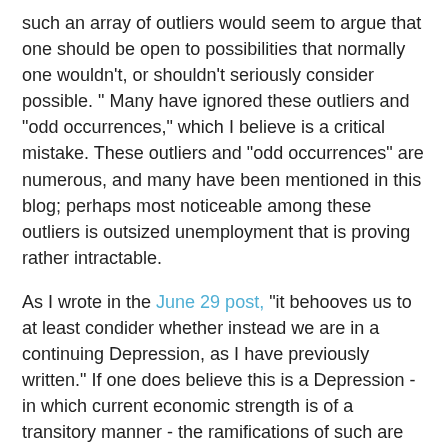such an array of outliers would seem to argue that one should be open to possibilities that normally one wouldn't, or shouldn't seriously consider possible. "  Many have ignored these outliers and "odd occurrences," which I believe is a critical mistake.  These outliers and "odd occurrences" are numerous, and many have been mentioned in this blog; perhaps most noticeable among these outliers is outsized unemployment that is proving rather intractable.
As I wrote in the June 29 post, "it behooves us to at least condider whether instead we are in a continuing Depression, as I have previously written."  If one does believe this is a Depression - in which current economic strength is of a transitory manner - the ramifications of such are important, as it would indicate that not only is more weakness coming, but most likely of a more (vs. the trough of 2009) severe nature.
My analysis indicates that our current and future economic conditions are of great complexity.  At the core of any current economic analysis and forecast should be the question "Are our current national actions to improve our economic